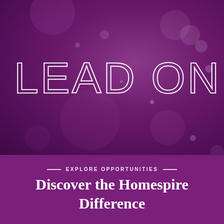[Figure (illustration): Purple bokeh background with large white outline text reading 'LEAD ON.' in thin letterforms on a gradient purple background with soft light spots]
— EXPLORE OPPORTUNITIES —
Discover the Homespire Difference